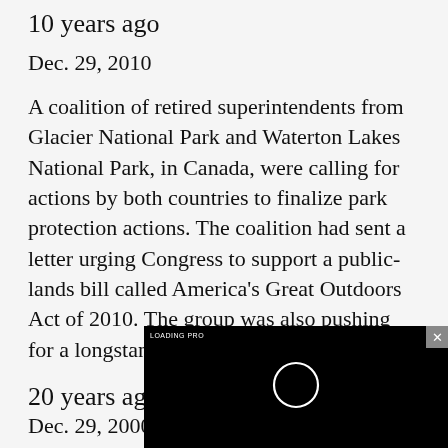10 years ago
Dec. 29, 2010
A coalition of retired superintendents from Glacier National Park and Waterton Lakes National Park, in Canada, were calling for actions by both countries to finalize park protection actions. The coalition had sent a letter urging Congress to support a public-lands bill called America’s Great Outdoors Act of 2010. The group was also pushing for a longstanding pro… Waterton Park we…
20 years ago
Dec. 29, 2000
[Figure (screenshot): Black video player overlay with a circular loading/play indicator and a small text label in the top-left corner, with a close button (x) in the top-right corner on a grey background.]